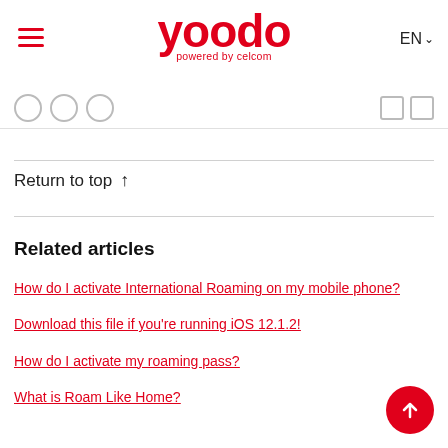yoodo powered by celcom
Return to top ↑
Related articles
How do I activate International Roaming on my mobile phone?
Download this file if you're running iOS 12.1.2!
How do I activate my roaming pass?
What is Roam Like Home?